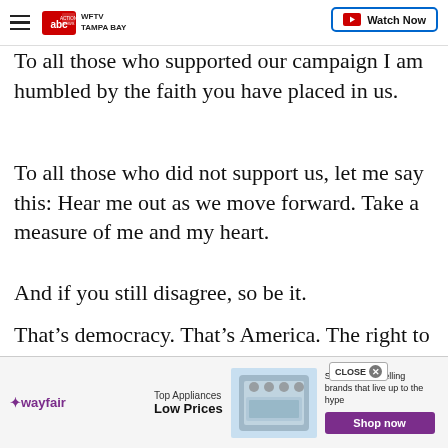WFTV TAMPA BAY | Watch Now
To all those who supported our campaign I am humbled by the faith you have placed in us.
To all those who did not support us, let me say this: Hear me out as we move forward. Take a measure of me and my heart.
And if you still disagree, so be it.
That’s democracy. That’s America. The right to dissent peaceably, within the guardrails of our Republic, is
[Figure (screenshot): Wayfair advertisement banner: Top Appliances Low Prices, Save on best selling brands that live up to the hype, Shop now button]